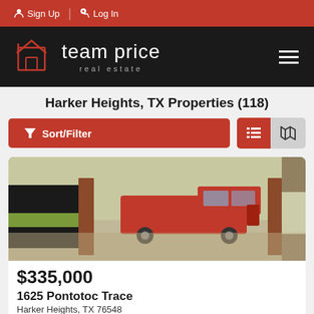Sign Up | Log In
[Figure (logo): Team Price Real Estate logo on dark background with hamburger menu]
Harker Heights, TX Properties (118)
Sort/Filter | List view | Map view buttons
[Figure (photo): Exterior photo of a house with a red truck parked in an open garage, concrete driveway, and brick exterior]
$335,000
1625 Pontotoc Trace
Harker Heights, TX 76548
For Sale | 1,935 sqft | 0.2731 acres | #479417